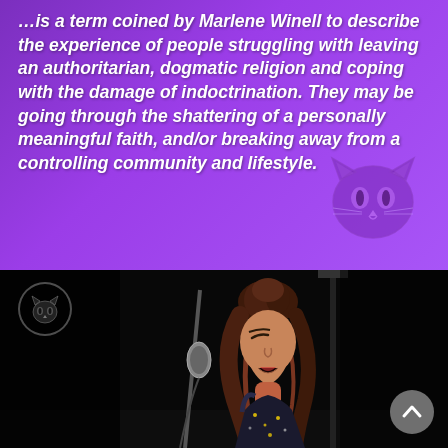...is a term coined by Marlene Winell to describe the experience of people struggling with leaving an authoritarian, dogmatic religion and coping with the damage of indoctrination. They may be going through the shattering of a personally meaningful faith, and/or breaking away from a controlling community and lifestyle.
[Figure (photo): A woman with curly reddish-brown hair singing passionately into a microphone on a dark stage, wearing a sparkly/glittery outfit. A microphone stand is visible in the foreground and a vertical light stand is in the background.]